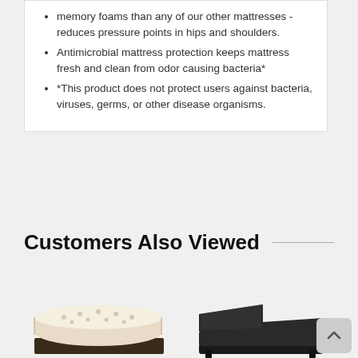memory foams than any of our other mattresses - reduces pressure points in hips and shoulders.
Antimicrobial mattress protection keeps mattress fresh and clean from odor causing bacteria*
*This product does not protect users against bacteria, viruses, germs, or other disease organisms.
Customers Also Viewed
[Figure (photo): Mattress product image shown from angled side view, cream/beige tufted top]
[Figure (photo): Adjustable bed base shown in reclined position, dark brown/black color]